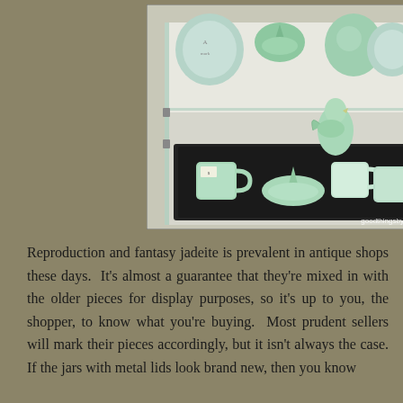[Figure (photo): A glass display case in an antique shop containing various jadeite pieces including mugs, a citrus juicer/reamer, a rooster figurine, and decorative plates. Also visible are red/maroon glass bottles on the right side. Watermark reads 'goodthingsbydavid'.]
Reproduction and fantasy jadeite is prevalent in antique shops these days.  It's almost a guarantee that they're mixed in with the older pieces for display purposes, so it's up to you, the shopper, to know what you're buying.  Most prudent sellers will mark their pieces accordingly, but it isn't always the case. If the jars with metal lids look brand new, then you know